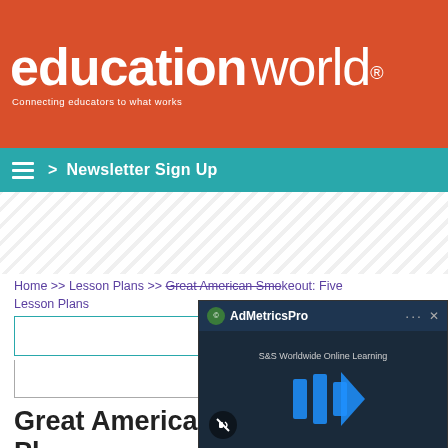[Figure (logo): Education World logo on orange/red background with tagline 'Connecting educators to what works']
> Newsletter Sign Up
[Figure (other): Diagonal striped decorative area]
Home >> Lesson Plans >> Great American Smokeout: Five Lesson Plans
[Figure (other): AdMetricsPro video ad overlay with play button and S&S Worldwide Online Learning text, mute button visible]